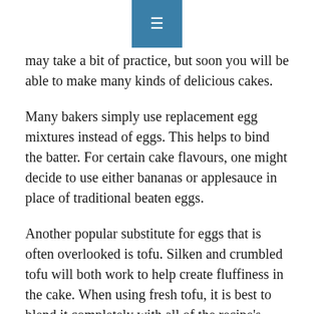≡
may take a bit of practice, but soon you will be able to make many kinds of delicious cakes.
Many bakers simply use replacement egg mixtures instead of eggs. This helps to bind the batter. For certain cake flavours, one might decide to use either bananas or applesauce in place of traditional beaten eggs.
Another popular substitute for eggs that is often overlooked is tofu. Silken and crumbled tofu will both work to help create fluffiness in the cake. When using fresh tofu, it is best to blend it completely with all of the recipe's liquid ingredients before adding it to the dry ingredients.
In addition to the previously mentioned substitutes,